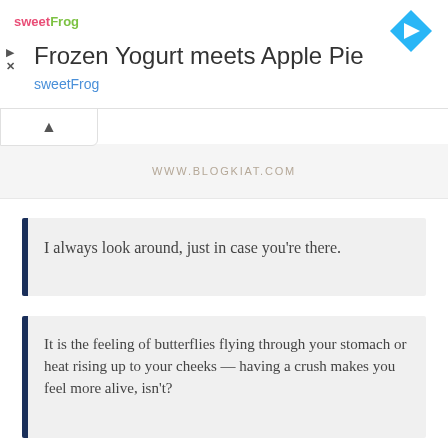[Figure (screenshot): Ad banner for sweetFrog frozen yogurt: logo in pink/green, title 'Frozen Yogurt meets Apple Pie', subtitle 'sweetFrog', navigation diamond icon top right, play and close icons on left]
WWW.BLOGKIAT.COM
I always look around, just in case you're there.
It is the feeling of butterflies flying through your stomach or heat rising up to your cheeks — having a crush makes you feel more alive, isn't?